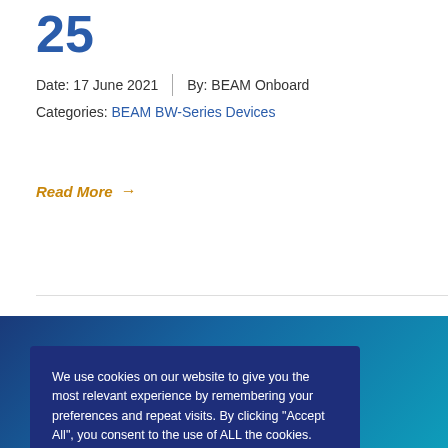25
Date: 17 June 2021 | By: BEAM Onboard
Categories: BEAM BW-Series Devices
Read More →
We use cookies on our website to give you the most relevant experience by remembering your preferences and repeat visits. By clicking "Accept All", you consent to the use of ALL the cookies. However, you may visit "Cookie Settings" to provide a controlled consent.
Cookie Settings | Accept All
ORE?
ns, drop us a